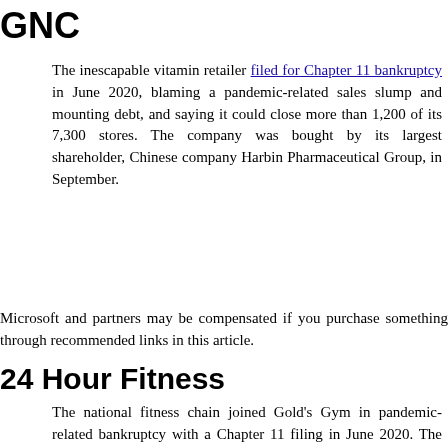GNC
The inescapable vitamin retailer filed for Chapter 11 bankruptcy in June 2020, blaming a pandemic-related sales slump and mounting debt, and saying it could close more than 1,200 of its 7,300 stores. The company was bought by its largest shareholder, Chinese company Harbin Pharmaceutical Group, in September.
Microsoft and partners may be compensated if you purchase something through recommended links in this article.
24 Hour Fitness
The national fitness chain joined Gold's Gym in pandemic-related bankruptcy with a Chapter 11 filing in June 2020. The company said its money troubles were a direct result of COVID-19 closings and announced that about 100 of its 400 locations would be shut